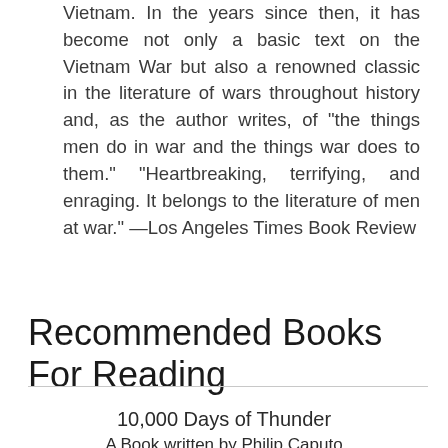Vietnam. In the years since then, it has become not only a basic text on the Vietnam War but also a renowned classic in the literature of wars throughout history and, as the author writes, of "the things men do in war and the things war does to them." "Heartbreaking, terrifying, and enraging. It belongs to the literature of men at war." —Los Angeles Times Book Review
Recommended Books For Reading
10,000 Days of Thunder
A Book written by Philip Caputo